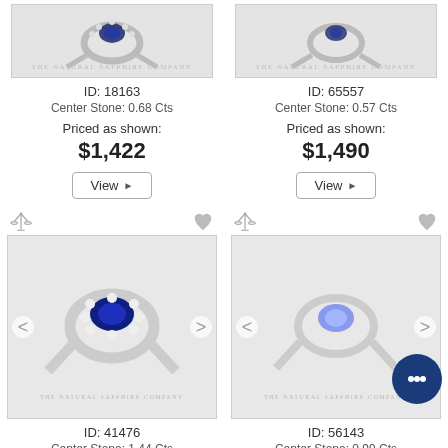[Figure (photo): Sapphire ring with halo setting, The Natural Sapphire Company watermark, ID 18163]
ID: 18163
Center Stone: 0.68 Cts
Priced as shown:
$1,422
View ▶
[Figure (photo): Sapphire ring, The Natural Sapphire Company watermark, ID 65557]
ID: 65557
Center Stone: 0.57 Cts
Priced as shown:
$1,490
View ▶
[Figure (photo): Blue sapphire halo ring with diamond surround, The Natural Sapphire Company watermark, ID 41476]
ID: 41476
Center Stone: 1.44 Cts
[Figure (photo): Lavender/blue oval sapphire solitaire ring, The Natural Sapphire Company watermark, ID 56143]
ID: 56143
Center Stone: 0.99 Cts